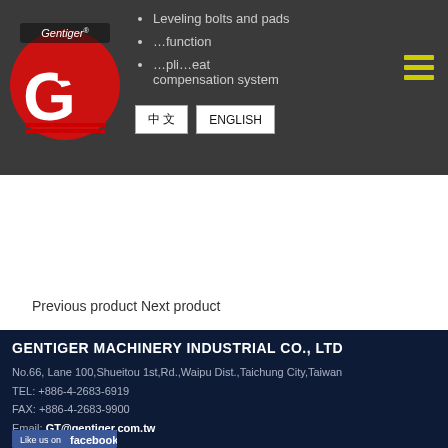[Figure (logo): Gentiger GT logo — red GT emblem with Gentiger text on dark background header]
Leveling bolts and pads
…function
…pli…eat compensation system
[Figure (other): Language buttons: 中文 and ENGLISH]
[Figure (other): Hamburger menu icon (three yellow lines)]
Previous product Next product
GENTIGER  MACHINERY  INDUSTRIAL  CO., LTD
No.66, Lane 100,Shueitou 1st,Rd.,Waipu Dist.,Taichung City,Taiwan
TEL: +886-4-2683-6919
FAX: +886-4-2683-9900
Email: GT@gentiger.com.tw
[Figure (other): Facebook Like us on facebook banner image]